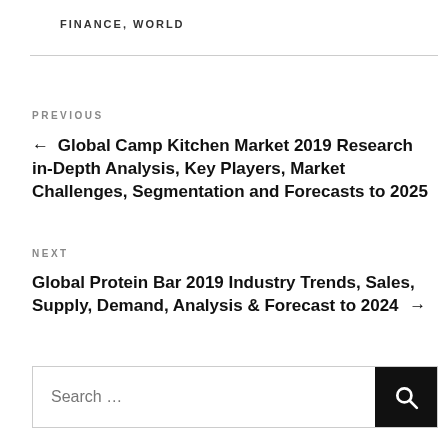FINANCE, WORLD
PREVIOUS
← Global Camp Kitchen Market 2019 Research in-Depth Analysis, Key Players, Market Challenges, Segmentation and Forecasts to 2025
NEXT
Global Protein Bar 2019 Industry Trends, Sales, Supply, Demand, Analysis & Forecast to 2024 →
Search …